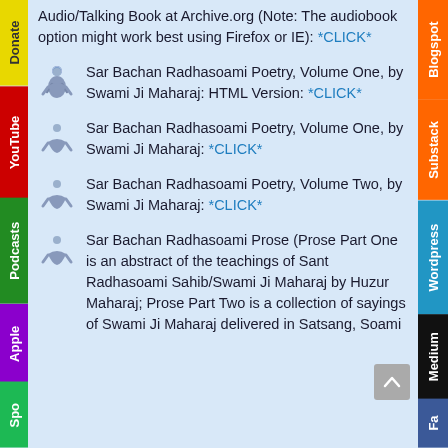Audio/Talking Book at Archive.org (Note: The audiobook option might work best using Firefox or IE): *CLICK*
Sar Bachan Radhasoami Poetry, Volume One, by Swami Ji Maharaj: HTML Version: *CLICK*
Sar Bachan Radhasoami Poetry, Volume One, by Swami Ji Maharaj: *CLICK*
Sar Bachan Radhasoami Poetry, Volume Two, by Swami Ji Maharaj: *CLICK*
Sar Bachan Radhasoami Prose (Prose Part One is an abstract of the teachings of Sant Radhasoami Sahib/Swami Ji Maharaj by Huzur Maharaj; Prose Part Two is a collection of sayings of Swami Ji Maharaj delivered in Satsang, Soami